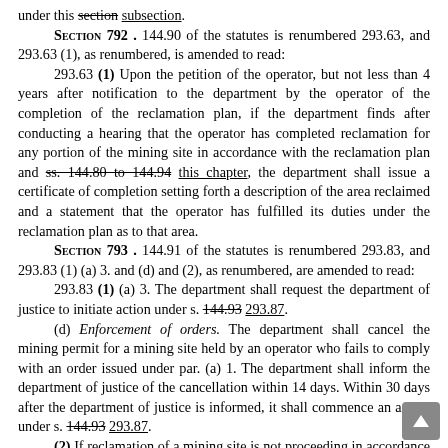under this section subsection.
Section 792. 144.90 of the statutes is renumbered 293.63, and 293.63 (1), as renumbered, is amended to read:
293.63 (1) Upon the petition of the operator, but not less than 4 years after notification to the department by the operator of the completion of the reclamation plan, if the department finds after conducting a hearing that the operator has completed reclamation for any portion of the mining site in accordance with the reclamation plan and ss. 144.80 to 144.94 this chapter, the department shall issue a certificate of completion setting forth a description of the area reclaimed and a statement that the operator has fulfilled its duties under the reclamation plan as to that area.
Section 793. 144.91 of the statutes is renumbered 293.83, and 293.83 (1) (a) 3. and (d) and (2), as renumbered, are amended to read:
293.83 (1) (a) 3. The department shall request the department of justice to initiate action under s. 144.93 293.87.
(d) Enforcement of orders. The department shall cancel the mining permit for a mining site held by an operator who fails to comply with an order issued under par. (a) 1. The department shall inform the department of justice of the cancellation within 14 days. Within 30 days after the department of justice is informed, it shall commence an action under s. 144.93 293.87.
(2) If reclamation of a mining site is not proceeding in accordance with the reclamation plan and the operator has not commenced to rectify deficiencies within the time specified in